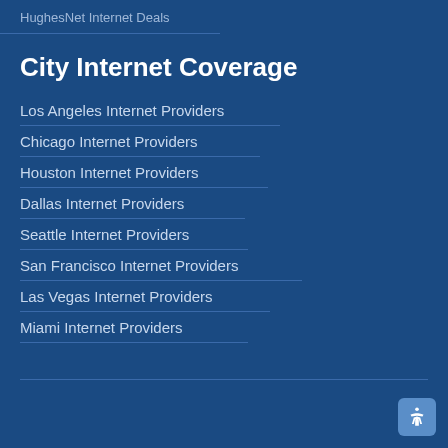HughesNet Internet Deals
City Internet Coverage
Los Angeles Internet Providers
Chicago Internet Providers
Houston Internet Providers
Dallas Internet Providers
Seattle Internet Providers
San Francisco Internet Providers
Las Vegas Internet Providers
Miami Internet Providers